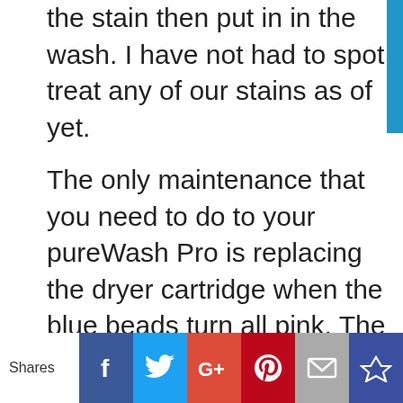the stain then put in in the wash. I have not had to spot treat any of our stains as of yet.
The only maintenance that you need to do to your pureWash Pro is replacing the dryer cartridge when the blue beads turn all pink. The dryer cartridge is said to last between 3 to 12 months all depending on your water quality. I have been using our pureWash Pro for a week now and there is no sign of anything pink yet. I will have to update you later on how long the dryer cartridge lasts for us.
Shares | Facebook | Twitter | G+ | Pinterest | Email | Crown